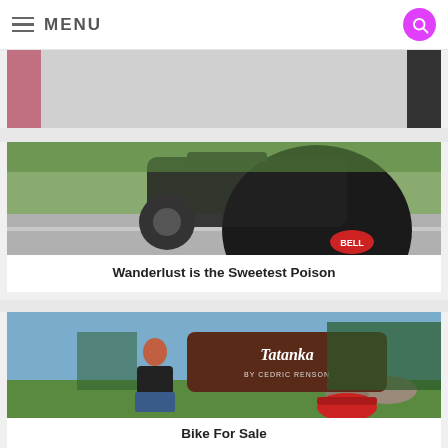MENU
[Figure (photo): Partial view of a blog post card showing partial images on left and right edges]
[Figure (photo): Motorcycle and Bell helmet on a road with green scenery]
Wanderlust is the Sweetest Poison
[Figure (photo): Woman sitting in front of a Tatanka sign with a motorcycle]
Bike For Sale